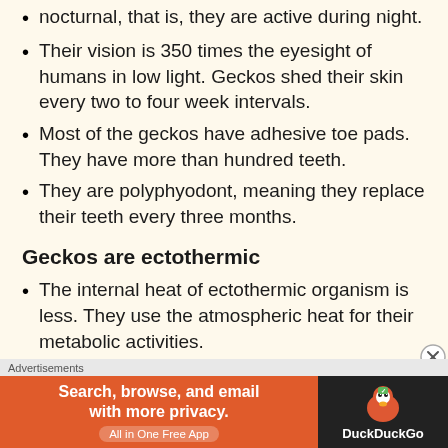nocturnal, that is, they are active during night.
Their vision is 350 times the eyesight of humans in low light. Geckos shed their skin every two to four week intervals.
Most of the geckos have adhesive toe pads. They have more than hundred teeth.
They are polyphyodont, meaning they replace their teeth every three months.
Geckos are ectothermic
The internal heat of ectothermic organism is less. They use the atmospheric heat for their metabolic activities.
Geckos use atmospheric heat for feeding, locomotion, reproduction, and to accomplish their
[Figure (infographic): DuckDuckGo advertisement banner: orange left panel with text 'Search, browse, and email with more privacy. All in One Free App' and dark right panel with DuckDuckGo logo and name.]